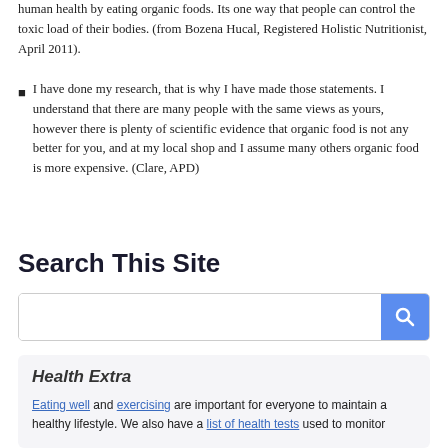human health by eating organic foods. Its one way that people can control the toxic load of their bodies. (from Bozena Hucal, Registered Holistic Nutritionist, April 2011).
I have done my research, that is why I have made those statements. I understand that there are many people with the same views as yours, however there is plenty of scientific evidence that organic food is not any better for you, and at my local shop and I assume many others organic food is more expensive. (Clare, APD)
Search This Site
[Figure (screenshot): Search box with a blue search button icon on the right]
Health Extra
Eating well and exercising are important for everyone to maintain a healthy lifestyle. We also have a list of health tests used to monitor